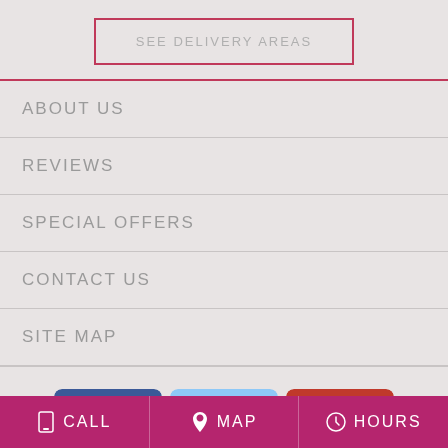SEE DELIVERY AREAS
ABOUT US
REVIEWS
SPECIAL OFFERS
CONTACT US
SITE MAP
[Figure (logo): Three social media icons: Facebook (blue with white f logo), Google My Business (light blue with G and awning), Yelp (orange-red with white Yelp icon)]
CALL | MAP | HOURS